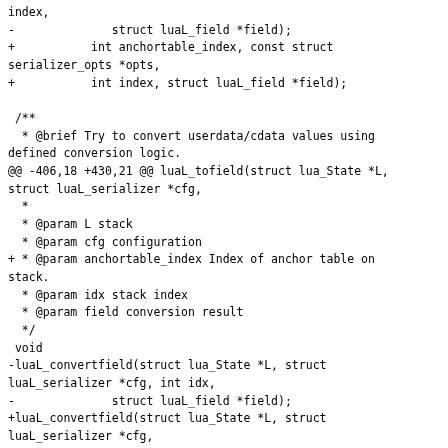index,
-              struct luaL_field *field);
+           int anchortable_index, const struct serializer_opts *opts,
+           int index, struct luaL_field *field);

 /**
  * @brief Try to convert userdata/cdata values using defined conversion logic.
@@ -406,18 +430,21 @@ luaL_tofield(struct lua_State *L, struct luaL_serializer *cfg,
  *
  * @param L stack
  * @param cfg configuration
+ * @param anchortable_index Index of anchor table on stack.
  * @param idx stack index
  * @param field conversion result
  */
 void
-luaL_convertfield(struct lua_State *L, struct luaL_serializer *cfg, int idx,
-              struct luaL_field *field);
+luaL_convertfield(struct lua_State *L, struct luaL_serializer *cfg,
+               int anchortable_index, int idx, struct luaL_field *field);

 /**
  * @brief A wrapper for luaL_tofield() and luaL_convertfield() that